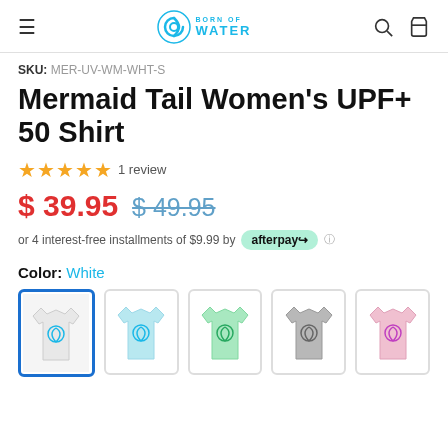Born of Water — navigation header
SKU: MER-UV-WM-WHT-S
Mermaid Tail Women's UPF+ 50 Shirt
★★★★★ 1 review
$ 39.95  $ 49.95 (strikethrough)
or 4 interest-free installments of $9.99 by afterpay
Color: White
[Figure (photo): Five color swatches of the mermaid tail shirt: white (selected, blue border), light blue, mint green, grey, pink]